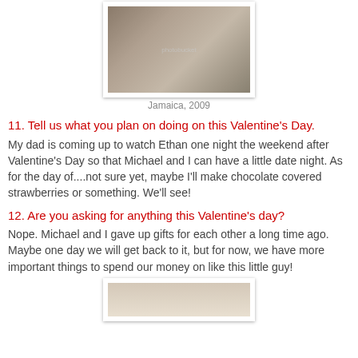[Figure (photo): Photo of a couple smiling, woman with dark curly hair and a man, watermarked photo]
Jamaica, 2009
11. Tell us what you plan on doing on this Valentine's Day.
My dad is coming up to watch Ethan one night the weekend after Valentine's Day so that Michael and I can have a little date night. As for the day of....not sure yet, maybe I'll make chocolate covered strawberries or something. We'll see!
12. Are you asking for anything this Valentine's day?
Nope. Michael and I gave up gifts for each other a long time ago. Maybe one day we will get back to it, but for now, we have more important things to spend our money on like this little guy!
[Figure (photo): Partial photo visible at bottom of page]